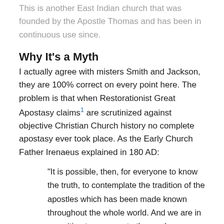This is another East Indian church that was founded by the Apostle Thomas and has been in continuous use since.
Why It's a Myth
I actually agree with misters Smith and Jackson, they are 100% correct on every point here. The problem is that when Restorationist Great Apostasy claims¹ are scrutinized against objective Christian Church history no complete apostasy ever took place. As the Early Church Father Irenaeus explained in 180 AD:
“It is possible, then, for everyone to know the truth, to contemplate the tradition of the apostles which has been made known throughout the whole world. And we are in a position to enumerate those who were instituted bishops by the apostles and their successors [down] to our own times; men who neither taught anything like those heretics rave